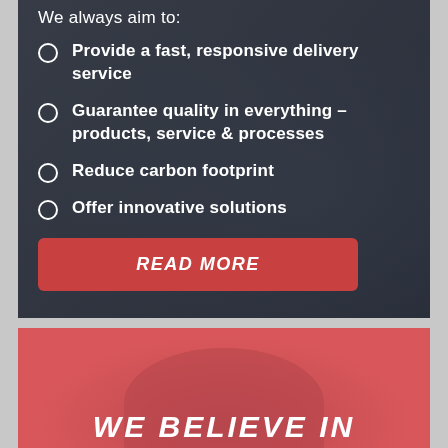We always aim to:
Provide a fast, responsive delivery service
Guarantee quality in everything – products, service & processes
Reduce carbon footprint
Offer innovative solutions
READ MORE
WE BELIEVE IN